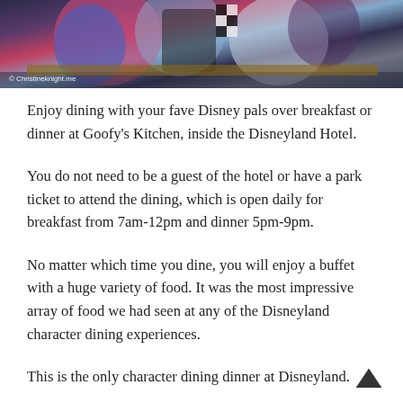[Figure (photo): Disney character dining photo showing costumed characters in colorful outfits, with a watermark '© Christineknight.me' in the lower left corner.]
Enjoy dining with your fave Disney pals over breakfast or dinner at Goofy's Kitchen, inside the Disneyland Hotel.
You do not need to be a guest of the hotel or have a park ticket to attend the dining, which is open daily for breakfast from 7am-12pm and dinner 5pm-9pm.
No matter which time you dine, you will enjoy a buffet with a huge variety of food. It was the most impressive array of food we had seen at any of the Disneyland character dining experiences.
This is the only character dining dinner at Disneyland.